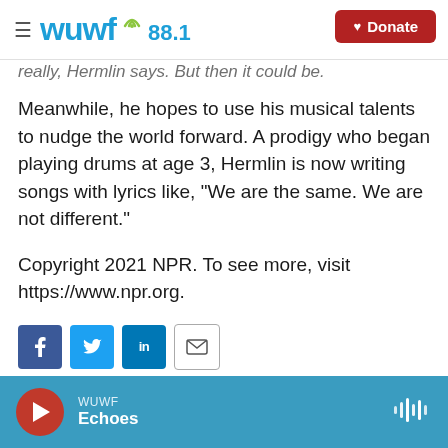WUWF 88.1 | Donate
really, Hermlin says. But then it could be.
Meanwhile, he hopes to use his musical talents to nudge the world forward. A prodigy who began playing drums at age 3, Hermlin is now writing songs with lyrics like, "We are the same. We are not different."
Copyright 2021 NPR. To see more, visit https://www.npr.org.
[Figure (other): Social sharing buttons: Facebook, Twitter, LinkedIn, Email]
WUWF | Echoes (audio player bar)